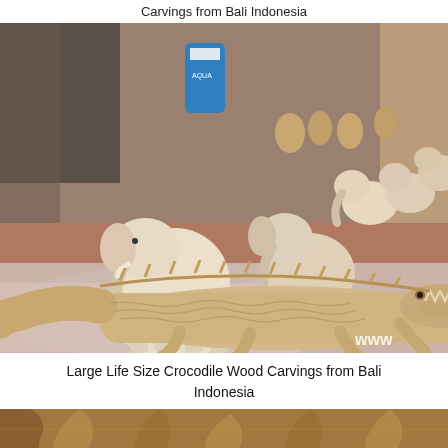Carvings from Bali Indonesia
[Figure (photo): Photo of wooden animal carvings from Bali Indonesia including elephant figurines and a large life-size crocodile wood carving, displayed in what appears to be a workshop. A watermark reading 'www' is visible in the bottom right corner.]
Large Life Size Crocodile Wood Carvings from Bali Indonesia
[Figure (photo): Partial photo at the bottom of the page showing close-up of wooden carvings from Bali Indonesia.]